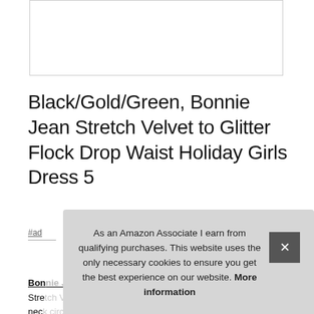[Figure (other): White rectangular image placeholder with light gray border at top of page]
Black/Gold/Green, Bonnie Jean Stretch Velvet to Glitter Flock Drop Waist Holiday Girls Dress 5
#ad
Bon[nie Jean] Offer[s] to[p] qu[ality] Chi[ldren's] [clothing] Stre[tch Velvet to Glitter Flock Drop Waist with] nec[k] circ[umference] was[...]
As an Amazon Associate I earn from qualifying purchases. This website uses the only necessary cookies to ensure you get the best experience on our website. More information